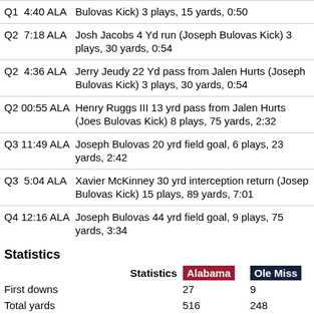| Quarter/Time/Team | Description |
| --- | --- |
| Q1  4:40 ALA | Bulovas Kick) 3 plays, 15 yards, 0:50 |
| Q2  7:18 ALA | Josh Jacobs 4 Yd run (Joseph Bulovas Kick) 3 plays, 30 yards, 0:54 |
| Q2  4:36 ALA | Jerry Jeudy 22 Yd pass from Jalen Hurts (Joseph Bulovas Kick) 3 plays, 30 yards, 0:54 |
| Q2 00:55 ALA | Henry Ruggs III 13 yrd pass from Jalen Hurts (Joseph Bulovas Kick) 8 plays, 75 yards, 2:32 |
| Q3 11:49 ALA | Joseph Bulovas 20 yrd field goal, 6 plays, 23 yards, 2:42 |
| Q3  5:04 ALA | Xavier McKinney 30 yrd interception return (Joseph Bulovas Kick) 15 plays, 89 yards, 7:01 |
| Q4 12:16 ALA | Joseph Bulovas 44 yrd field goal, 9 plays, 75 yards, 3:34 |
Statistics
| Statistics | Alabama | Ole Miss |
| --- | --- | --- |
| First downs | 27 | 9 |
| Total yards | 516 | 248 |
| Rushes–yards | 210 | 115 |
| Passing yards | 306 | 133 |